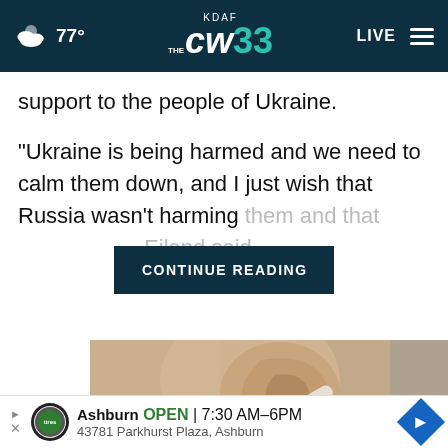KDAF CW 33 — 77° — LIVE
support to the people of Ukraine.
“Ukraine is being harmed and we need to calm them down, and I just wish that Russia wasn’t harming them and that [CONTINUE READING] Eiland said.
[Figure (screenshot): CONTINUE READING button overlay in dark teal]
[Figure (photo): Close-up photo of a person’s ear with an earplug or hearing aid being inserted]
Ashburn OPEN | 7:30 AM–6PM
43781 Parkhurst Plaza, Ashburn